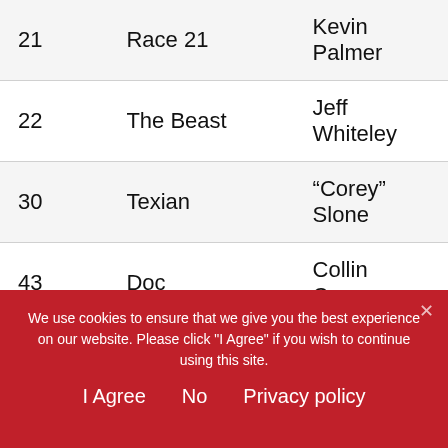| # | Name | Driver |
| --- | --- | --- |
| 21 | Race 21 | Kevin Palmer |
| 22 | The Beast | Jeff Whiteley |
| 30 | Texian | “Corey” Slone |
| 43 | Doc | Collin Caneva |
| 44 | Yee Haw 6 | Steve Henry |
| 46 | G Wagon | Warren Grobberlaar |
| 48 | Devil Girl | Eddie Sanches |
| 50 | Race 50 | ...“...”... |
We use cookies to ensure that we give you the best experience on our website. Please click "I Agree" if you wish to continue using this site.
I Agree    No    Privacy policy